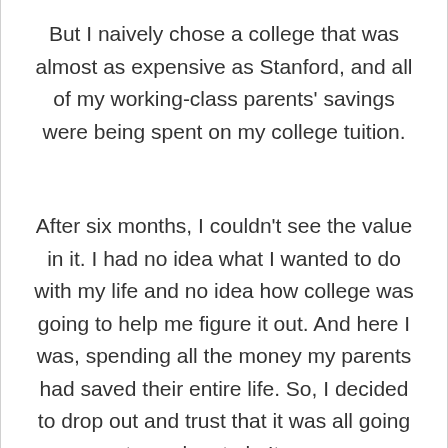But I naively chose a college that was almost as expensive as Stanford, and all of my working-class parents' savings were being spent on my college tuition.
After six months, I couldn't see the value in it. I had no idea what I wanted to do with my life and no idea how college was going to help me figure it out. And here I was, spending all the money my parents had saved their entire life. So, I decided to drop out and trust that it was all going to work out ok. It was